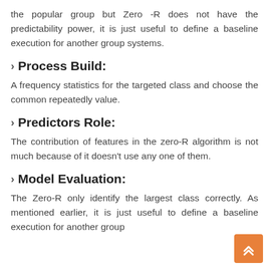the popular group but Zero -R does not have the predictability power, it is just useful to define a baseline execution for another group systems.
Process Build:
A frequency statistics for the targeted class and choose the common repeatedly value.
Predictors Role:
The contribution of features in the zero-R algorithm is not much because of it doesn't use any one of them.
Model Evaluation:
The Zero-R only identify the largest class correctly. As mentioned earlier, it is just useful to define a baseline execution for another group